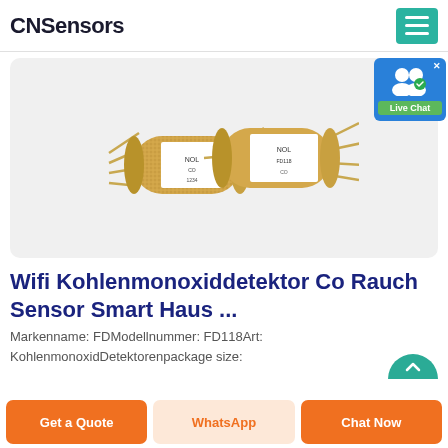CNSensors
[Figure (photo): Two gold-colored cylindrical CO sensor components with metal pins/leads extending from both ends, shown on a light gray background. The sensors appear to be gas sensing elements with labeled tape around their cylindrical bodies.]
Wifi Kohlenmonoxiddetektor Co Rauch Sensor Smart Haus ...
Markenname: FDModellnummer: FD118Art: KohlenmonoxidDetektorenpackage size: